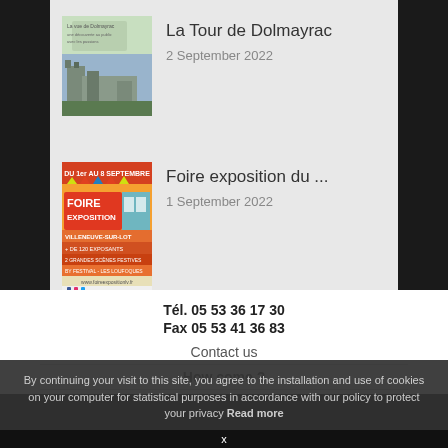[Figure (photo): Thumbnail image of La Tour de Dolmayrac - a castle tower with greenery]
La Tour de Dolmayrac
2 September 2022
[Figure (photo): Colorful Foire exposition event poster from Villeneuve-sur-Lot]
Foire exposition du ...
1 September 2022
Tél. 05 53 36 17 30
Fax 05 53 41 36 83
Contact us
How come ?
By continuing your visit to this site, you agree to the installation and use of cookies on your computer for statistical purposes in accordance with our policy to protect your privacy Read more